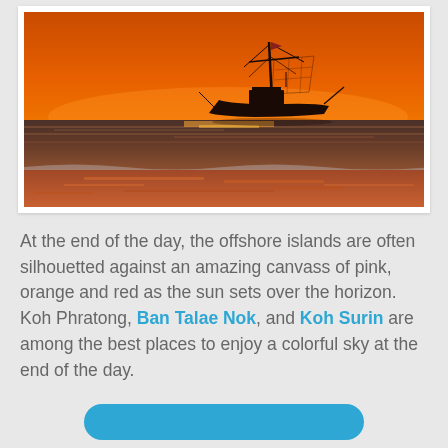[Figure (photo): A fishing boat silhouetted against an orange and red sunset sky over the sea, with reflections on the wet beach sand in the foreground.]
At the end of the day, the offshore islands are often silhouetted against an amazing canvass of pink, orange and red as the sun sets over the horizon. Koh Phratong, Ban Talae Nok, and Koh Surin are among the best places to enjoy a colorful sky at the end of the day.